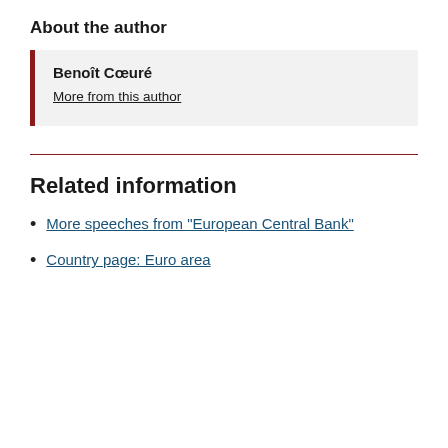About the author
Benoît Cœuré
More from this author
More speeches from "European Central Bank"
Country page: Euro area
Related information